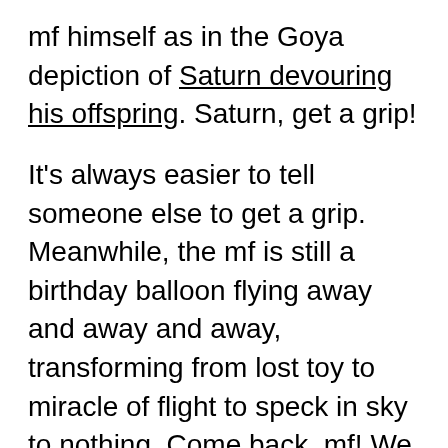mf himself as in the Goya depiction of Saturn devouring his offspring. Saturn, get a grip!
It's always easier to tell someone else to get a grip. Meanwhile, the mf is still a birthday balloon flying away and away and away, transforming from lost toy to miracle of flight to speck in sky to nothing. Come back, mf! We need you! The champagne oyster mushrooms are starting to sprout!
Oh. That got his attention, and it is also true, a definite plus in this era of self-serve reality. For example, if you think the billionaire president is Superman, guess what? You're right! Facts? Hah. Sneer. But let's not infringe on the pundits' turf. They at least have courts of appeal, however corrupt.